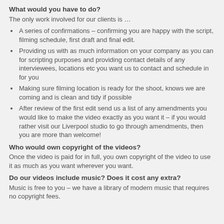What would you have to do?
The only work involved for our clients is …
A series of confirmations – confirming you are happy with the script, filming schedule, first draft and final edit.
Providing us with as much information on your company as you can for scripting purposes and providing contact details of any interviewees, locations etc you want us to contact and schedule in for you
Making sure filming location is ready for the shoot, knows we are coming and is clean and tidy if possible
After review of the first edit send us a list of any amendments you would like to make the video exactly as you want it – if you would rather visit our Liverpool studio to go through amendments, then you are more than welcome!
Who would own copyright of the videos?
Once the video is paid for in full, you own copyright of the video to use it as much as you want wherever you want.
Do our videos include music? Does it cost any extra?
Music is free to you – we have a library of modern music that requires no copyright fees.